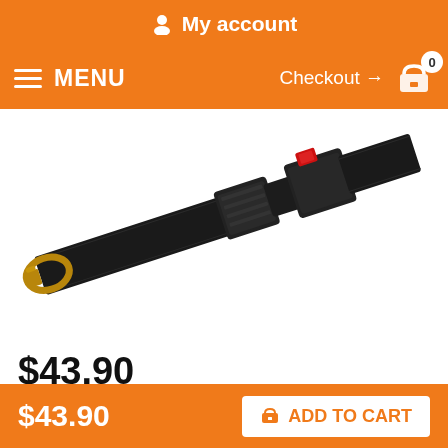My account
MENU  Checkout → 0
[Figure (photo): Black seatbelt strap with metal buckle connector and gold carabiner hook on left end, photographed diagonally on white background]
$43.90
QTY : 1
$43.90  ADD TO CART